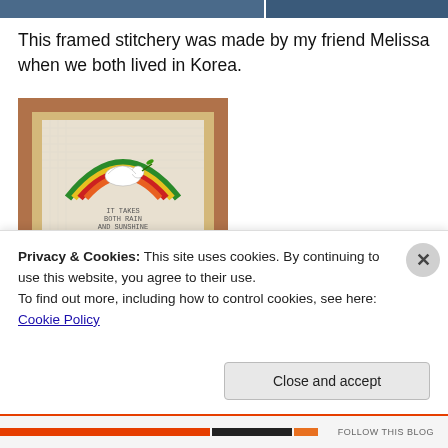[Figure (photo): Two partial photos at the top of the page — left is a darker blue-toned image, right is another blue-toned image]
This framed stitchery was made by my friend Melissa when we both lived in Korea.
[Figure (photo): A framed cross-stitch artwork in a brown wooden frame. The needlework shows a rainbow with a dove carrying an olive branch. Text on the piece reads: IT TAKES BOTH RAIN AND SUNSHINE TO MAKE A RAINBOW]
Privacy & Cookies: This site uses cookies. By continuing to use this website, you agree to their use.
To find out more, including how to control cookies, see here: Cookie Policy
Close and accept